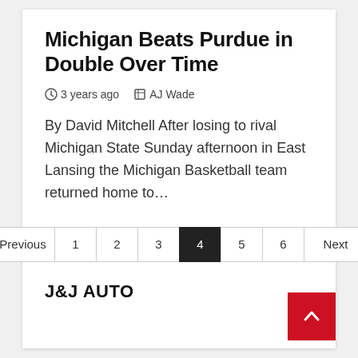Michigan Beats Purdue in Double Over Time
3 years ago  AJ Wade
By David Mitchell After losing to rival Michigan State Sunday afternoon in East Lansing the Michigan Basketball team returned home to…
Previous 1 2 3 4 5 6 Next
J&J AUTO